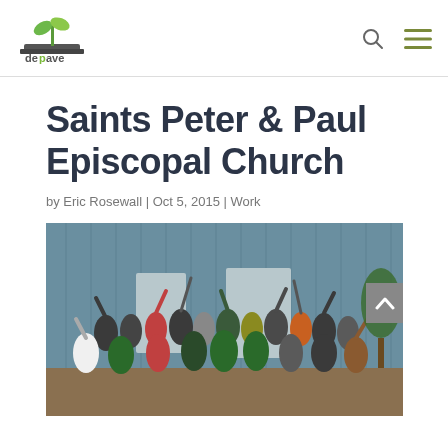[Figure (logo): Depave organization logo with stylized plant/seedling growing from a road/pavement, text 'depave' in grey and green]
Saints Peter & Paul Episcopal Church
by Eric Rosewall | Oct 5, 2015 | Work
[Figure (photo): Group photo of approximately 30-40 volunteers celebrating outdoors in front of a blue corrugated metal building, many raising their hands and tools in celebration, wearing colorful clothing including green shirts and safety vests, standing on dirt/pavement removal site]